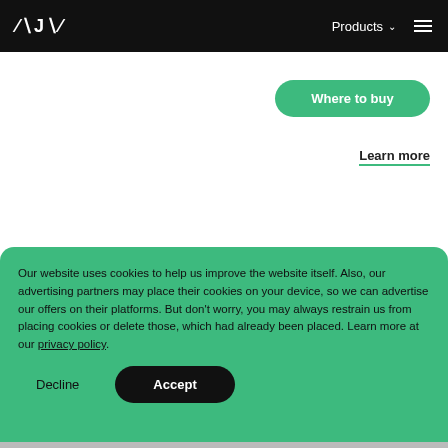AJAX  Products  ☰
Where to buy
Learn more
Our website uses cookies to help us improve the website itself. Also, our advertising partners may place their cookies on your device, so we can advertise our offers on their platforms. But don't worry, you may always restrain us from placing cookies or delete those, which had already been placed. Learn more at our privacy policy.
Decline
Accept